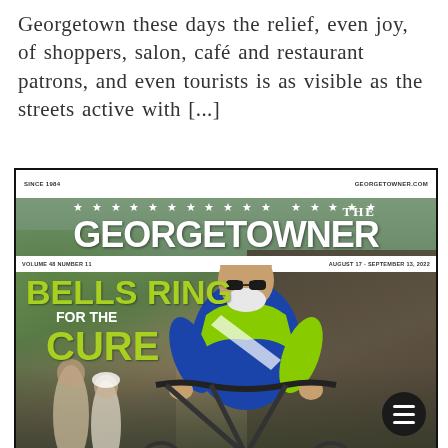Georgetown these days the relief, even joy, of shoppers, salon, café and restaurant patrons, and even tourists is as visible as the streets active with [...]
[Figure (photo): The Georgetowner magazine cover showing a man in a blue and green cycling jersey standing with a bicycle in front of a stone building (Georgetown University). The cover headline reads 'BELLS RING FOR THE CURE' in green text. The masthead shows 'THE GEORGETOWNER' with stars. Volume 48 Number 11, August 17 - September 13, 2022. A hamburger menu button appears in the bottom right corner.]